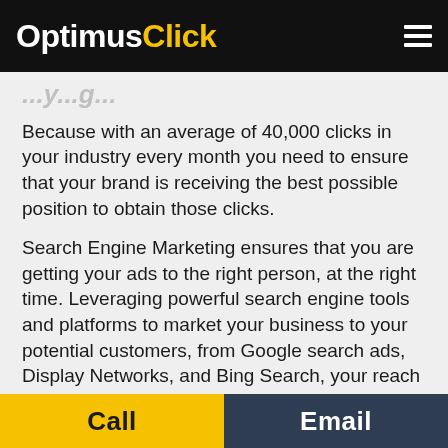OptimusClick
Because with an average of 40,000 clicks in your industry every month you need to ensure that your brand is receiving the best possible position to obtain those clicks.
Search Engine Marketing ensures that you are getting your ads to the right person, at the right time. Leveraging powerful search engine tools and platforms to market your business to your potential customers, from Google search ads, Display Networks, and Bing Search, your reach will be outstanding.
Search Engine Marketing provides direct, immediate targeting that promotes new products, services, and deals.
Call   Email